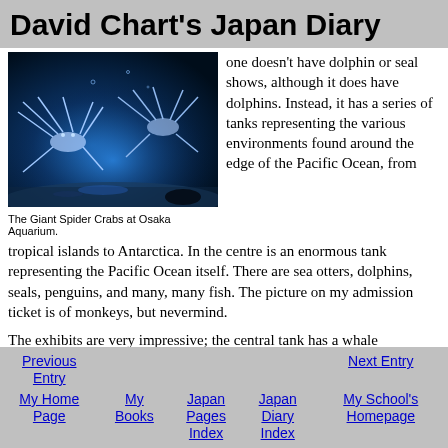David Chart's Japan Diary
[Figure (photo): Giant Spider Crabs at Osaka Aquarium, illuminated in blue light against sandy floor]
The Giant Spider Crabs at Osaka Aquarium.
one doesn't have dolphin or seal shows, although it does have dolphins. Instead, it has a series of tanks representing the various environments found around the edge of the Pacific Ocean, from tropical islands to Antarctica. In the centre is an enormous tank representing the Pacific Ocean itself. There are sea otters, dolphins, seals, penguins, and many, many fish. The picture on my admission ticket is of monkeys, but nevermind.
The exhibits are very impressive; the central tank has a whale
Previous Entry | Next Entry | My Home Page | My Books | Japan Pages Index | Japan Diary Index | My School's Homepage